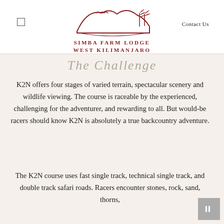Simba Farm Lodge West Kilimanjaro | Contact Us
The Challenge
K2N offers four stages of varied terrain, spectacular scenery and wildlife viewing. The course is raceable by the experienced, challenging for the adventurer, and rewarding to all. But would-be racers should know K2N is absolutely a true backcountry adventure.
The K2N course uses fast single track, technical single track, and double track safari roads. Racers encounter stones, rock, sand, thorns,